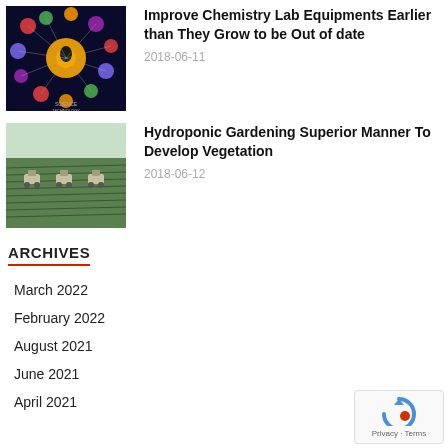[Figure (photo): Science technology infographic with colorful network diagram on dark background]
Improve Chemistry Lab Equipments Earlier than They Grow to be Out of date
2018-06-11
[Figure (photo): Aerial view of farm field with three harvesting machines in rows]
Hydroponic Gardening Superior Manner To Develop Vegetation
2018-06-12
ARCHIVES
March 2022
February 2022
August 2021
June 2021
April 2021